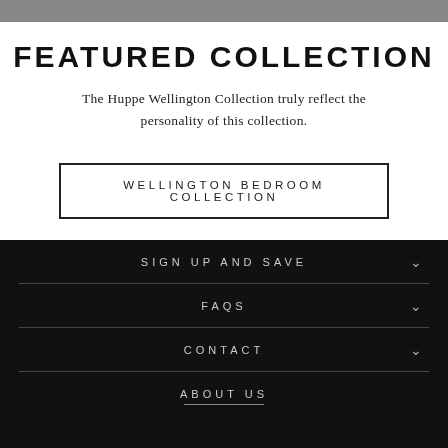[Figure (photo): Partial photo of bedroom furniture, cropped at top of page]
FEATURED COLLECTION
The Huppe Wellington Collection truly reflect the personality of this collection.
WELLINGTON BEDROOM COLLECTION
SIGN UP AND SAVE
FAQS
CONTACT
ABOUT US